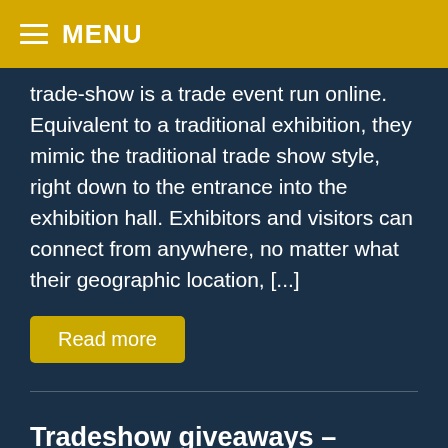MENU
trade-show is a trade event run online. Equivalent to a traditional exhibition, they mimic the traditional trade show style, right down to the entrance into the exhibition hall. Exhibitors and visitors can connect from anywhere, no matter what their geographic location, [...]
Read more
Tradeshow giveaways –